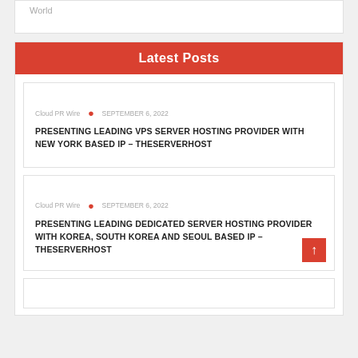World
Latest Posts
Cloud PR Wire  •  SEPTEMBER 6, 2022
PRESENTING LEADING VPS SERVER HOSTING PROVIDER WITH NEW YORK BASED IP – THESERVERHOST
Cloud PR Wire  •  SEPTEMBER 6, 2022
PRESENTING LEADING DEDICATED SERVER HOSTING PROVIDER WITH KOREA, SOUTH KOREA AND SEOUL BASED IP – THESERVERHOST